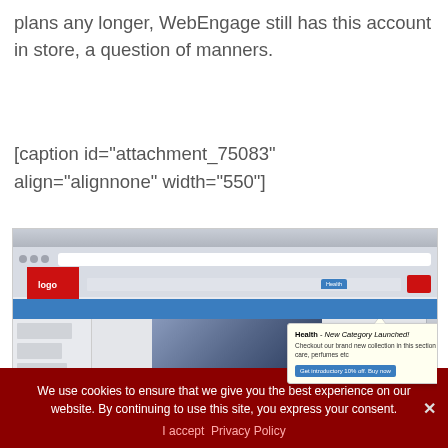plans any longer, WebEngage still has this account in store, a question of manners.
[caption id="attachment_75083" align="alignnone" width="550"]
[Figure (screenshot): Screenshot of a website with a popup notification tooltip reading 'Health - New Category Launched!' with text 'Checkout our brand new collection in this section - skin care, perfumes etc' and a blue button 'Get introductory 10% off. Buy now']
We use cookies to ensure that we give you the best experience on our website. By continuing to use this site, you express your consent.
I accept  Privacy Policy